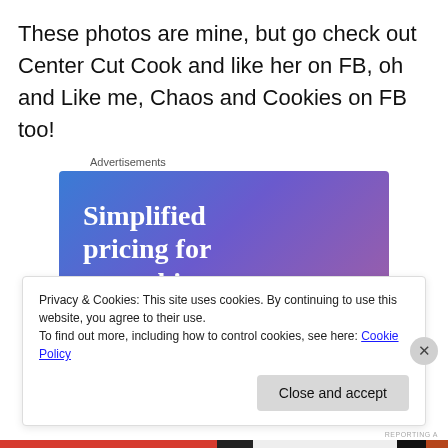These photos are mine, but go check out Center Cut Cook and like her on FB, oh and Like me, Chaos and Cookies on FB too!
Advertisements
[Figure (other): Advertisement banner with gradient blue/purple background, text 'Simplified pricing for everything you need.' with a pink 'Build Your Website' button and a price tag graphic on the right.]
Privacy & Cookies: This site uses cookies. By continuing to use this website, you agree to their use.
To find out more, including how to control cookies, see here: Cookie Policy